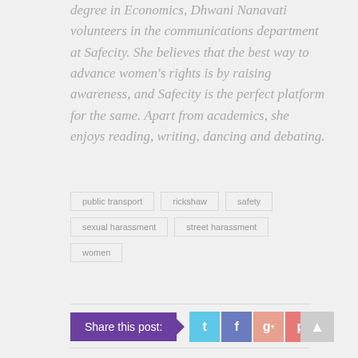degree in Economics, Dhwani Nanavati volunteers in the communications department at Safecity. She believes that the best way to advance women's rights is by raising awareness, and Safecity is the perfect platform for the same. Apart from academics, she enjoys reading, writing, dancing and debating.
public transport
rickshaw
safety
sexual harassment
street harassment
women
Share this post: